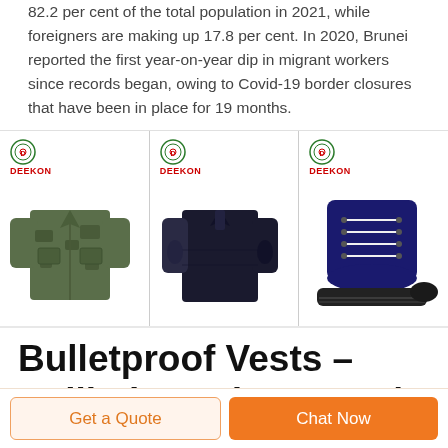82.2 per cent of the total population in 2021, while foreigners are making up 17.8 per cent. In 2020, Brunei reported the first year-on-year dip in migrant workers since records began, owing to Covid-19 border closures that have been in place for 19 months.
[Figure (photo): Three product images from Deekon brand: a green camouflage military jacket, a black tactical long-sleeve combat shirt, and a navy/dark blue high-top military boot.]
Bulletproof Vests – Ballistic Body Armor |
Get a Quote
Chat Now